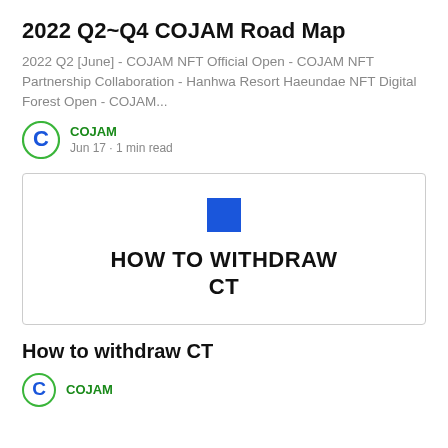2022 Q2~Q4 COJAM Road Map
2022 Q2 [June] - COJAM NFT Official Open - COJAM NFT Partnership Collaboration - Hanhwa Resort Haeundae NFT Digital Forest Open - COJAM...
COJAM
Jun 17 · 1 min read
[Figure (other): Card image with a blue square icon above bold text reading HOW TO WITHDRAW CT]
How to withdraw CT
COJAM